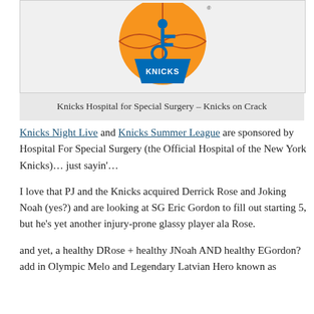[Figure (logo): New York Knicks logo with Hospital for Special Surgery branding — orange basketball with blue Knicks design and wheelchair accessibility symbol]
Knicks Hospital for Special Surgery – Knicks on Crack
Knicks Night Live and Knicks Summer League are sponsored by Hospital For Special Surgery (the Official Hospital of the New York Knicks)… just sayin'…
I love that PJ and the Knicks acquired Derrick Rose and Joking Noah (yes?) and are looking at SG Eric Gordon to fill out starting 5, but he's yet another injury-prone glassy player ala Rose.
and yet, a healthy DRose + healthy JNoah AND healthy EGordon?  add in Olympic Melo and Legendary Latvian Hero known as